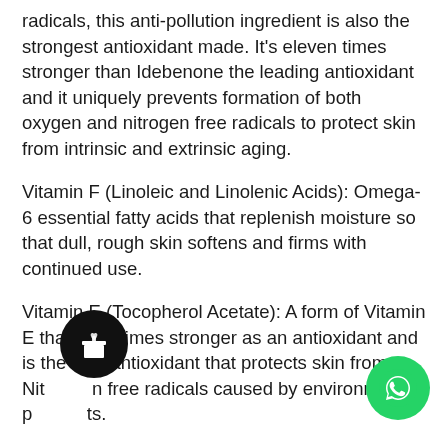radicals, this anti-pollution ingredient is also the strongest antioxidant made. It's eleven times stronger than Idebenone the leading antioxidant and it uniquely prevents formation of both oxygen and nitrogen free radicals to protect skin from intrinsic and extrinsic aging.
Vitamin F (Linoleic and Linolenic Acids): Omega-6 essential fatty acids that replenish moisture so that dull, rough skin softens and firms with continued use.
Vitamin E (Tocopherol Acetate): A form of Vitamin E that is 20 times stronger as an antioxidant and is the only antioxidant that protects skin from Nitrogen free radicals caused by environmental pollutants.
Lipids: Help to trap moisture into skin by